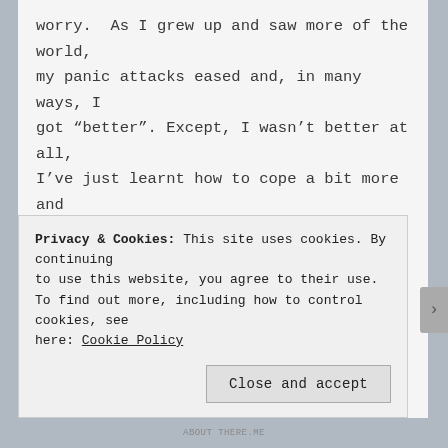worry. As I grew up and saw more of the world, my panic attacks eased and, in many ways, I got “better”. Except, I wasn’t better at all, I’ve just learnt how to cope a bit more and function as an adult.
At the start of this year, I realised I finally needed help. The problem is that of course, I let my anxiety get in the way and now, we’re in the middle of a lockdown and the whole world is now in state of panic. The new “C” word understandably puts a knot in my
Privacy & Cookies: This site uses cookies. By continuing to use this website, you agree to their use.
To find out more, including how to control cookies, see here: Cookie Policy
Close and accept
ABOUT THERE.ME